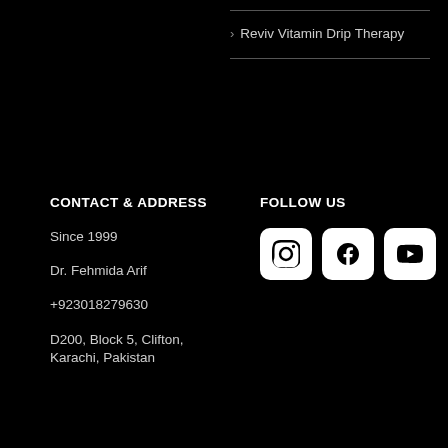> Reviv Vitamin Drip Therapy
CONTACT & ADDRESS
Since 1999
Dr. Fehmida Arif
+923018279630
D200, Block 5, Clifton, Karachi, Pakistan
FOLLOW US
[Figure (infographic): Three social media icon buttons: Instagram, Facebook, YouTube]